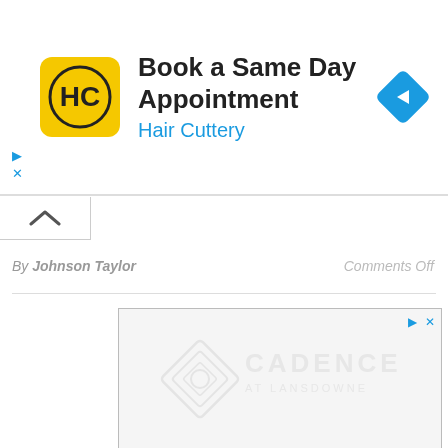[Figure (screenshot): Hair Cuttery advertisement banner with yellow HC logo, text 'Book a Same Day Appointment' and 'Hair Cuttery', blue navigation arrow icon on the right]
By Johnson Taylor
Comments Off
[Figure (screenshot): Cadence at Lansdowne advertisement with watermark logo, blue loading bar, white content area, and Brookfield Residential branding at bottom]